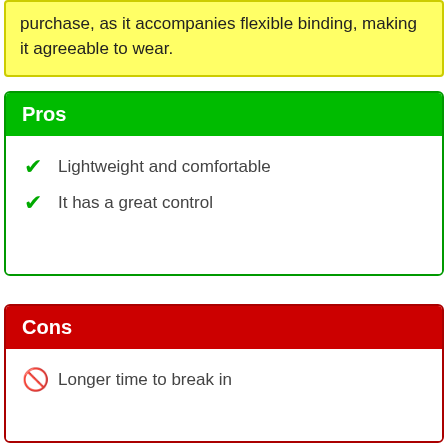purchase, as it accompanies flexible binding, making it agreeable to wear.
Pros
Lightweight and comfortable
It has a great control
Cons
Longer time to break in